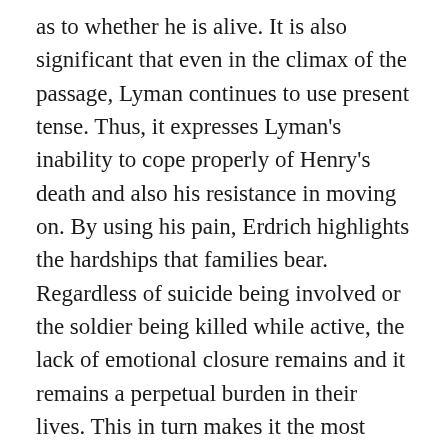as to whether he is alive. It is also significant that even in the climax of the passage, Lyman continues to use present tense. Thus, it expresses Lyman's inability to cope properly of Henry's death and also his resistance in moving on. By using his pain, Erdrich highlights the hardships that families bear. Regardless of suicide being involved or the soldier being killed while active, the lack of emotional closure remains and it remains a perpetual burden in their lives. This in turn makes it the most striking technique Erdrich uses in the story. It engages the reader with tension and empathy for Lyman and the loved ones of soldiers alike onto how hard it is to cope.
The 1970s and 1980s was a time of fraught and destruction for all involved with the Vietnam